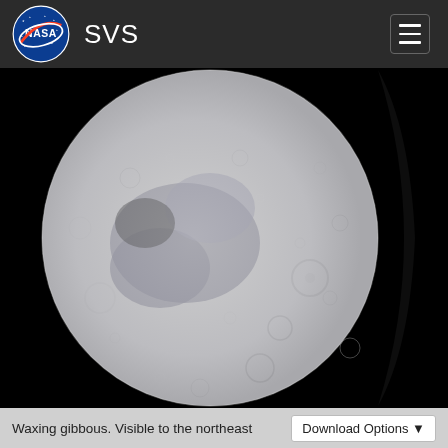NASA SVS
[Figure (photo): Close-up photograph of a waxing gibbous Moon against a black background, showing detailed crater surface on the illuminated left portion and shadow on the right side.]
Waxing gibbous. Visible to the northeast
Download Options ▼